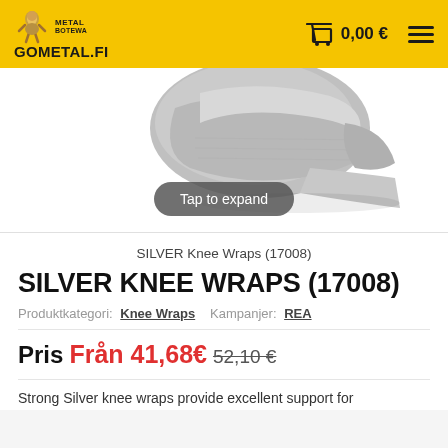METAL BOTEWA GOMETAL.FI  0,00 €
[Figure (photo): Grey fabric knee wrap product photo on white background with a 'Tap to expand' button overlay]
SILVER Knee Wraps (17008)
SILVER KNEE WRAPS (17008)
Produktkategori: Knee Wraps  Kampanjer: REA
Pris Från 41,68€ 52,10 €
Strong Silver knee wraps provide excellent support for